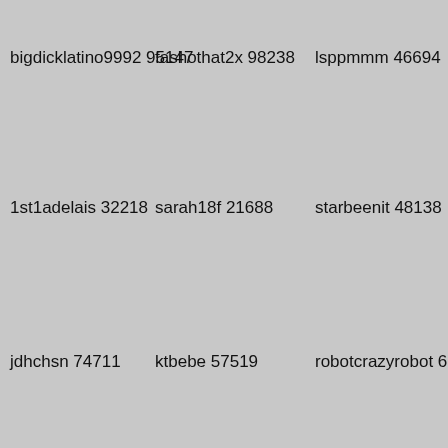bigdicklatino9992 95147
fashothat2x 98238
lsppmmm 46694
1st1adelais 32218
sarah18f 21688
starbeenit 48138
jdhchsn 74711
ktbebe 57519
robotcrazyrobot 6966
hitzc4l 93454
novinho_do_bundao 66318
metalraven 25519